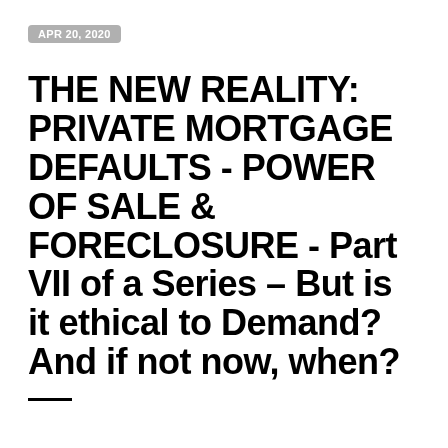APR 20, 2020
THE NEW REALITY: PRIVATE MORTGAGE DEFAULTS - POWER OF SALE & FORECLOSURE - Part VII of a Series – But is it ethical to Demand? And if not now, when?